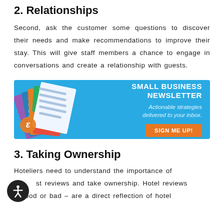2. Relationships
Second, ask the customer some questions to discover their needs and make recommendations to improve their stay. This will give staff members a chance to engage in conversations and create a relationship with guests.
[Figure (infographic): Small Business Newsletter advertisement banner with colorful overlapping cards/pages graphic on left, and text 'SMALL BUSINESS NEWSLETTER – Actionable strategies delivered to your inbox.' with 'SIGN ME UP!' button on blue background.]
3. Taking Ownership
Hoteliers need to understand the importance of guest reviews and take ownership. Hotel reviews – good or bad – are a direct reflection of hotel